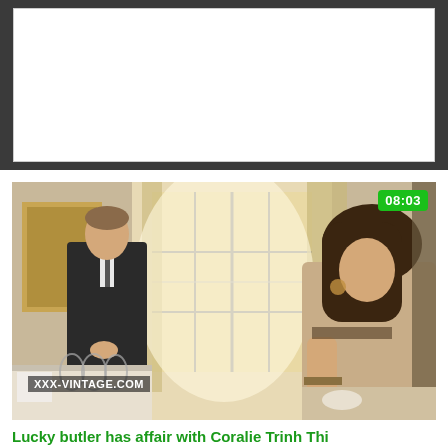[Figure (screenshot): White empty box area at top on dark grey background]
[Figure (photo): Video thumbnail showing a man in a dark suit standing by bright windows in an ornate room, and a woman in a beige outfit at a dining table. Watermark reads XXX-VINTAGE.COM. Duration badge 08:03 in green.]
Lucky butler has affair with Coralie Trinh Thi
5K views   61%